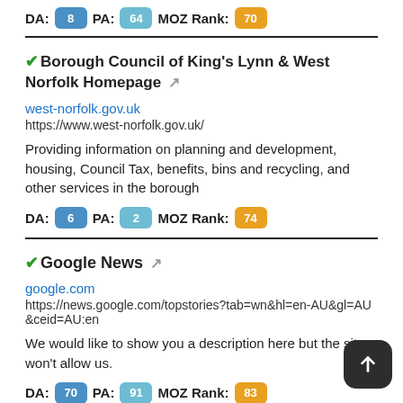DA: 8  PA: 64  MOZ Rank: 70
Borough Council of King's Lynn & West Norfolk Homepage
west-norfolk.gov.uk
https://www.west-norfolk.gov.uk/
Providing information on planning and development, housing, Council Tax, benefits, bins and recycling, and other services in the borough
DA: 6  PA: 2  MOZ Rank: 74
Google News
google.com
https://news.google.com/topstories?tab=wn&hl=en-AU&gl=AU&ceid=AU:en
We would like to show you a description here but the site won't allow us.
DA: 70  PA: 91  MOZ Rank: 83